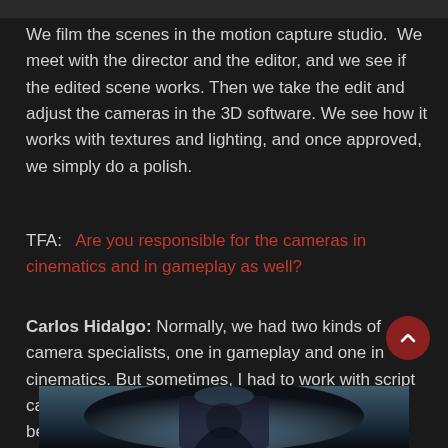We film the scenes in the motion capture studio.  We meet with the director and the editor, and we see if the edited scene works. Then we take the edit and adjust the cameras in the 3D software. We see how it works with textures and lighting, and once approved, we simply do a polish.
TFA:   Are you responsible for the cameras in cinematics and in gameplay as well?
Carlos Hidalgo: Normally, we had two kinds of camera specialists, one in gameplay and one in cinematics. But sometimes, I had to work with script cameras (gameplay) to coordinate the transition between cinematics and gameplay.
[Figure (photo): Bottom portion of a dark, atmospheric game screenshot showing a hooded figure in cinematic lighting]